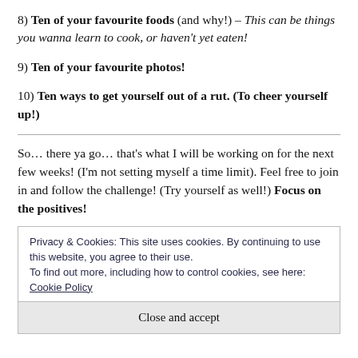8) Ten of your favourite foods (and why!) – This can be things you wanna learn to cook, or haven't yet eaten!
9) Ten of your favourite photos!
10) Ten ways to get yourself out of a rut. (To cheer yourself up!)
So… there ya go… that's what I will be working on for the next few weeks! (I'm not setting myself a time limit). Feel free to join in and follow the challenge! (Try yourself as well!) Focus on the positives!
Privacy & Cookies: This site uses cookies. By continuing to use this website, you agree to their use.
To find out more, including how to control cookies, see here: Cookie Policy
Close and accept